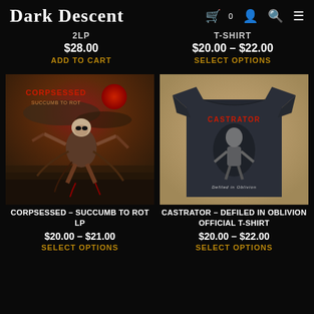Dark Descent
2LP
$28.00
ADD TO CART
T-SHIRT
$20.00 – $22.00
SELECT OPTIONS
[Figure (photo): Album cover for Corpsessed - Succumb to Rot LP, showing a skeletal figure in a dark apocalyptic landscape]
[Figure (photo): T-shirt for Castrator - Defiled in Oblivion Official T-Shirt, dark blue shirt with band logo and graphic]
CORPSESSED – SUCCUMB TO ROT LP
$20.00 – $21.00
SELECT OPTIONS
CASTRATOR – DEFILED IN OBLIVION OFFICIAL T-SHIRT
$20.00 – $22.00
SELECT OPTIONS